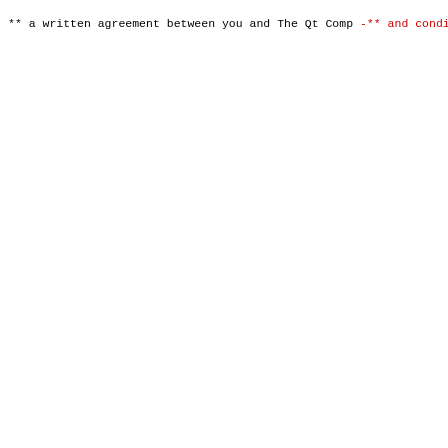Code diff showing license header changes in a Qt source file. Red lines (prefixed with -**) show removed GNU LGPL and GPL license text. Green lines (prefixed with +**) show added BSD license text.